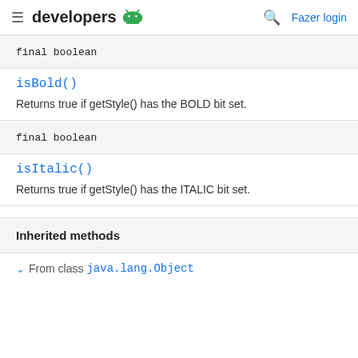developers [android logo] [search] Fazer login
final boolean
isBold()
Returns true if getStyle() has the BOLD bit set.
final boolean
isItalic()
Returns true if getStyle() has the ITALIC bit set.
Inherited methods
From class java.lang.Object